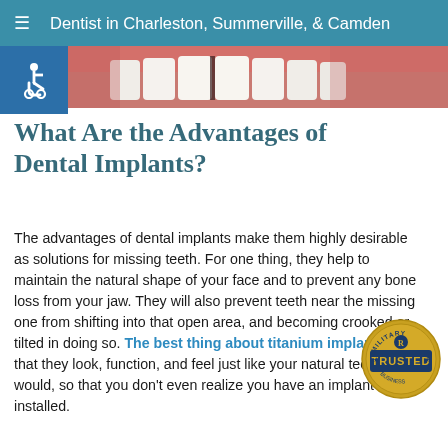Dentist in Charleston, Summerville, & Camden
[Figure (photo): Close-up photo strip of dental/teeth imagery in pink and red tones]
[Figure (illustration): Wheelchair accessibility icon, white on blue background]
What Are the Advantages of Dental Implants?
The advantages of dental implants make them highly desirable as solutions for missing teeth. For one thing, they help to maintain the natural shape of your face and to prevent any bone loss from your jaw. They will also prevent teeth near the missing one from shifting into that open area, and becoming crooked or tilted in doing so. The best thing about titanium implants is that they look, function, and feel just like your natural teeth would, so that you don't even realize you have an implant installed.
[Figure (logo): Military Trusted Business circular badge/seal in gold and navy]